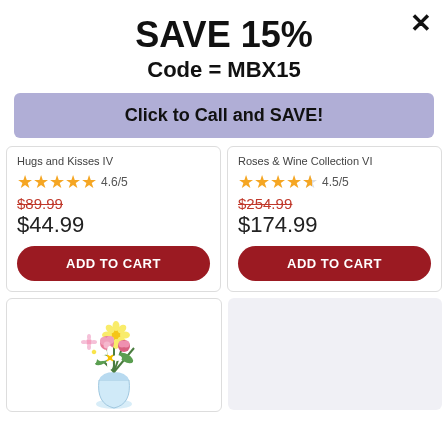SAVE 15%
Code = MBX15
Click to Call and SAVE!
Hugs and Kisses IV
4.6/5
$89.99
$44.99
ADD TO CART
Roses & Wine Collection VI
4.5/5
$254.99
$174.99
ADD TO CART
[Figure (photo): Bouquet of pink roses, yellow daisies, and white daisies in a glass vase]